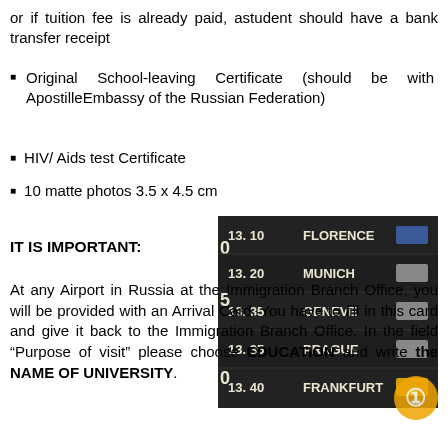or if tuition fee is already paid, astudent should have a bank transfer receipt
Original School-leaving Certificate (should be with ApostilleEmbassy of the Russian Federation)
HIV/ Aids test Certificate
10 matte photos 3.5 x 4.5 cm
IT IS IMPORTANT:
[Figure (photo): Airport departure board showing flight destinations including Florence, Munich, Geneve, Prague, Frankfurt with times 13.10, 13.20, 13.35, 13.40]
At any Airport in Russia at the Immigration Branch Office, you will be provided with an Arrival Card. You have to fill in this card and give it back to the Immigration Branch Office. In the field “Purpose of visit” please choose EDUCATION and write the NAME OF UNIVERSITY.